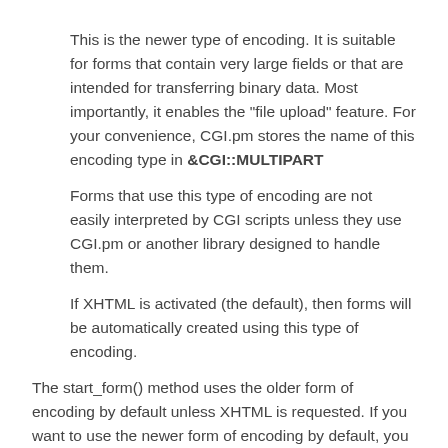This is the newer type of encoding. It is suitable for forms that contain very large fields or that are intended for transferring binary data. Most importantly, it enables the "file upload" feature. For your convenience, CGI.pm stores the name of this encoding type in &CGI::MULTIPART
Forms that use this type of encoding are not easily interpreted by CGI scripts unless they use CGI.pm or another library designed to handle them.
If XHTML is activated (the default), then forms will be automatically created using this type of encoding.
The start_form() method uses the older form of encoding by default unless XHTML is requested. If you want to use the newer form of encoding by default, you can call start_multipart_form() instead of start_form(). The method end_multipart_form() is an alias to end_form().